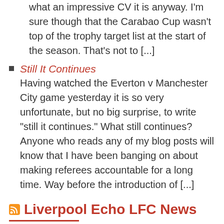what an impressive CV it is anyway. I'm sure though that the Carabao Cup wasn't top of the trophy target list at the start of the season. That's not to [...]
Still It Continues
Having watched the Everton v Manchester City game yesterday it is so very unfortunate, but no big surprise, to write "still it continues." What still continues? Anyone who reads any of my blog posts will know that I have been banging on about making referees accountable for a long time. Way before the introduction of [...]
Liverpool Echo LFC News
New three-year Liverpool deal proves long-term strategy works August 24, 2022
Liverpool have signed a new three-year extension to